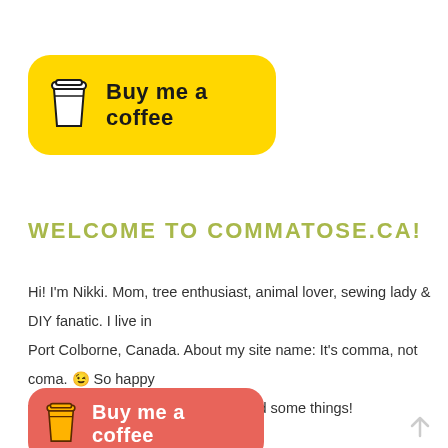[Figure (logo): Yellow rounded rectangle button with coffee cup icon and text 'Buy me a coffee']
WELCOME TO COMMATOSE.CA!
Hi! I'm Nikki. Mom, tree enthusiast, animal lover, sewing lady & DIY fanatic. I live in Port Colborne, Canada. About my site name: It's comma, not coma. 😉 So happy you could visit. Stay a while and read some things!
[Figure (logo): Red/coral rounded rectangle button with coffee cup icon and text 'Buy me a coffee' partially visible at bottom]